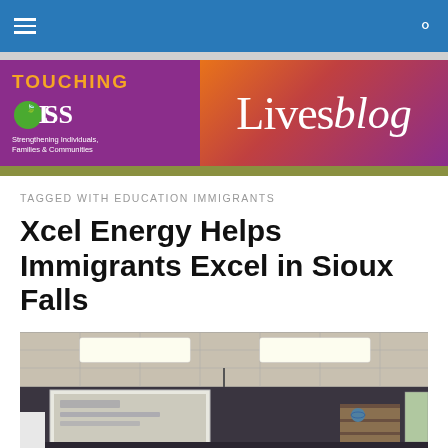Navigation bar with hamburger menu and search icon
[Figure (logo): LCS Touching Lives Blog banner logo with purple and orange gradient background]
TAGGED WITH EDUCATION IMMIGRANTS
Xcel Energy Helps Immigrants Excel in Sioux Falls
[Figure (photo): Interior of a classroom showing ceiling with fluorescent lights, projector mounted from ceiling, projector screen with content displayed, bookshelves and maps visible in background]